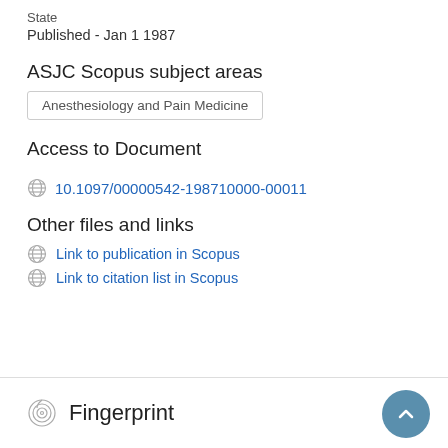State
Published - Jan 1 1987
ASJC Scopus subject areas
Anesthesiology and Pain Medicine
Access to Document
10.1097/00000542-198710000-00011
Other files and links
Link to publication in Scopus
Link to citation list in Scopus
Fingerprint